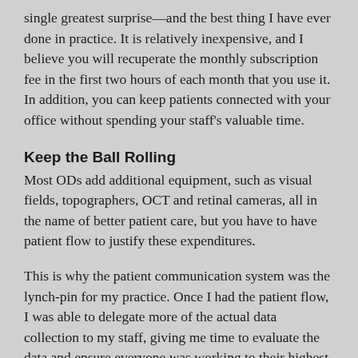single greatest surprise—and the best thing I have ever done in practice. It is relatively inexpensive, and I believe you will recuperate the monthly subscription fee in the first two hours of each month that you use it. In addition, you can keep patients connected with your office without spending your staff's valuable time.
Keep the Ball Rolling
Most ODs add additional equipment, such as visual fields, topographers, OCT and retinal cameras, all in the name of better patient care, but you have to have patient flow to justify these expenditures.
This is why the patient communication system was the lynch-pin for my practice. Once I had the patient flow, I was able to delegate more of the actual data collection to my staff, giving me time to evaluate the data and ensure everyone was working to their highest level of training. It also has allowed me time to discuss examination findings with patients in greater detail and explore other topics related to their care such as